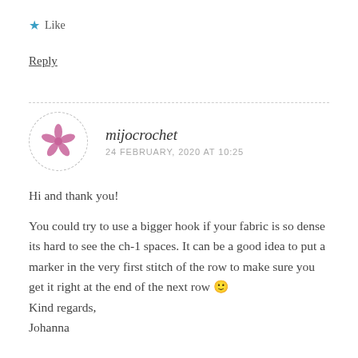★ Like
Reply
[Figure (illustration): Circular dashed-border avatar with a pink flower/swirl logo for mijocrochet]
mijocrochet
24 FEBRUARY, 2020 AT 10:25
Hi and thank you!

You could try to use a bigger hook if your fabric is so dense its hard to see the ch-1 spaces. It can be a good idea to put a marker in the very first stitch of the row to make sure you get it right at the end of the next row 🙂
Kind regards,
Johanna